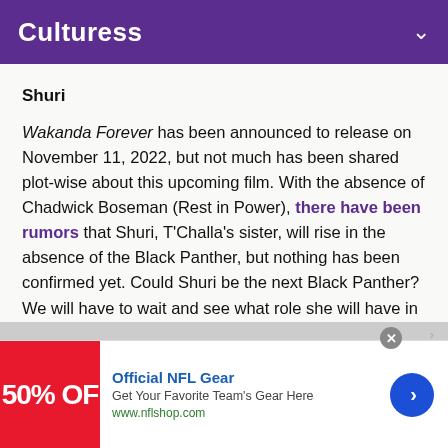Culturess
Shuri
Wakanda Forever has been announced to release on November 11, 2022, but not much has been shared plot-wise about this upcoming film. With the absence of Chadwick Boseman (Rest in Power), there have been rumors that Shuri, T'Challa's sister, will rise in the absence of the Black Panther, but nothing has been confirmed yet. Could Shuri be the next Black Panther? We will have to wait and see what role she will have in this next film.
[Figure (infographic): Advertisement banner for Official NFL Gear showing 50% OFF red image, text 'Official NFL Gear', 'Get Your Favorite Team's Gear Here', 'www.nflshop.com', and a blue arrow button]